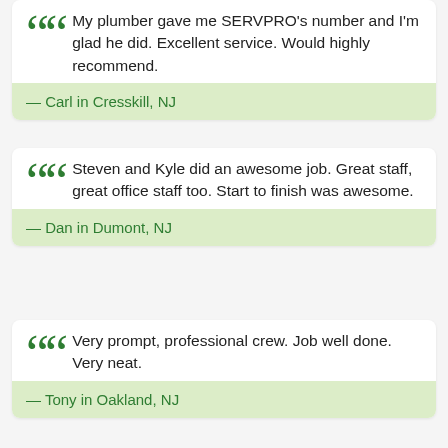My plumber gave me SERVPRO's number and I'm glad he did. Excellent service. Would highly recommend.
— Carl in Cresskill, NJ
Steven and Kyle did an awesome job. Great staff, great office staff too. Start to finish was awesome.
— Dan in Dumont, NJ
Very prompt, professional crew. Job well done. Very neat.
— Tony in Oakland, NJ